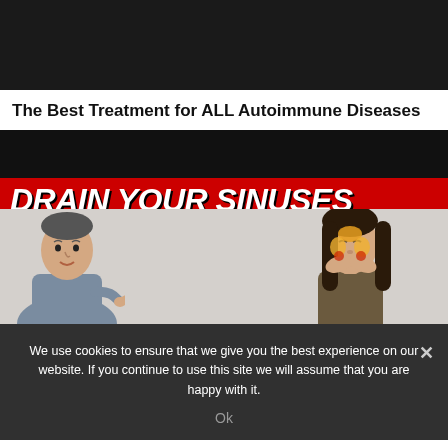[Figure (photo): Dark/black top portion of a video thumbnail or webpage screenshot]
The Best Treatment for ALL Autoimmune Diseases
[Figure (photo): YouTube-style video thumbnail with a red banner text reading 'DRAIN YOUR SINUSES', a man in a blue shirt pointing, and a woman pressing her nose/sinuses with illustrated sinus anatomy overlay on a grey background]
We use cookies to ensure that we give you the best experience on our website. If you continue to use this site we will assume that you are happy with it.
Ok